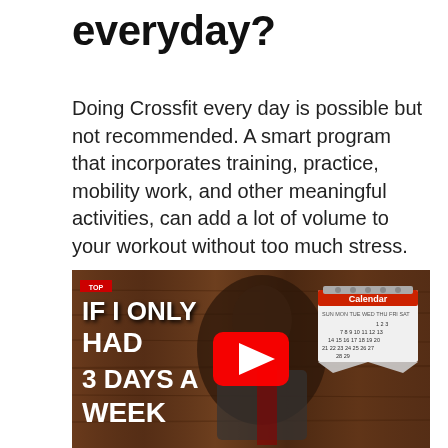everyday?
Doing Crossfit every day is possible but not recommended. A smart program that incorporates training, practice, mobility work, and other meaningful activities, can add a lot of volume to your workout without too much stress.
[Figure (screenshot): YouTube video thumbnail showing a muscular bald man in a gym with text overlay reading 'IF I ONLY HAD 3 DAYS A WEEK' and a calendar graphic in the upper right corner. A red YouTube play button is centered on the image.]